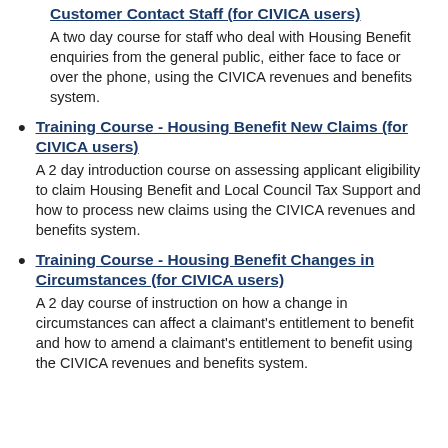Customer Contact Staff (for CIVICA users)
A two day course for staff who deal with Housing Benefit enquiries from the general public, either face to face or over the phone, using the CIVICA revenues and benefits system.
Training Course - Housing Benefit New Claims (for CIVICA users)
A 2 day introduction course on assessing applicant eligibility to claim Housing Benefit and Local Council Tax Support and how to process new claims using the CIVICA revenues and benefits system.
Training Course - Housing Benefit Changes in Circumstances (for CIVICA users)
A 2 day course of instruction on how a change in circumstances can affect a claimant's entitlement to benefit and how to amend a claimant's entitlement to benefit using the CIVICA revenues and benefits system.